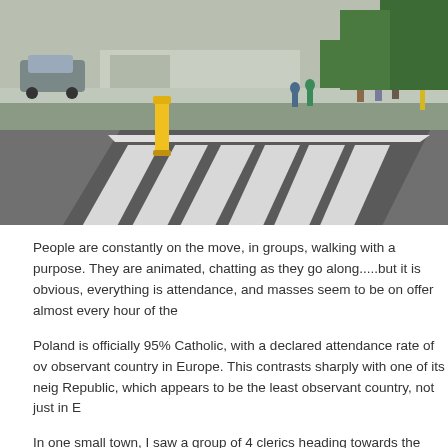[Figure (photo): Outdoor photo of a road with a raised pedestrian crossing (zebra crossing with diagonal stripes creating a 3D optical illusion effect). A yellow bollard is visible on the left side of the crossing. In the background, pedestrians are walking on a footpath beside a green hedge and trees, with a building visible in the distance. The scene appears to be in Poland.]
People are constantly on the move, in groups, walking with a purpose. They are animated, chatting as they go along.....but it is obvious, everything is attendance, and masses seem to be on offer almost every hour of the
Poland is officially 95% Catholic, with a declared attendance rate of over observant country in Europe. This contrasts sharply with one of its neig Republic, which appears to be the least observant country, not just in E
In one small town, I saw a group of 4 clerics heading towards the chur are probably more than that serving a relatively small community. In th lucky if they share one vicar amongst them.